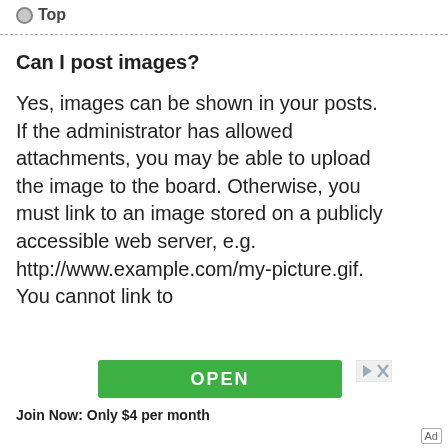Top
Can I post images?
Yes, images can be shown in your posts. If the administrator has allowed attachments, you may be able to upload the image to the board. Otherwise, you must link to an image stored on a publicly accessible web server, e.g. http://www.example.com/my-picture.gif. You cannot link to
[Figure (other): Green OPEN button advertisement banner with close/skip icons]
Join Now: Only $4 per month
Ad